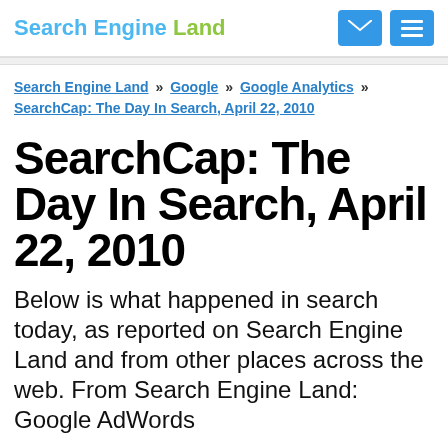Search Engine Land
Search Engine Land » Google » Google Analytics » SearchCap: The Day In Search, April 22, 2010
SearchCap: The Day In Search, April 22, 2010
Below is what happened in search today, as reported on Search Engine Land and from other places across the web. From Search Engine Land: Google AdWords